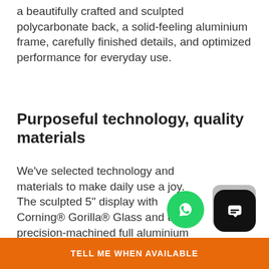a beautifully crafted and sculpted polycarbonate back, a solid-feeling aluminium frame, carefully finished details, and optimized performance for everyday use.
Purposeful technology, quality materials
We've selected technology and materials to make daily use a joy. The sculpted 5" display with Corning® Gorilla® Glass and the precision-machined full aluminium frame provide protection where it counts
Smartphones for life
TELL ME WHEN AVAILABLE